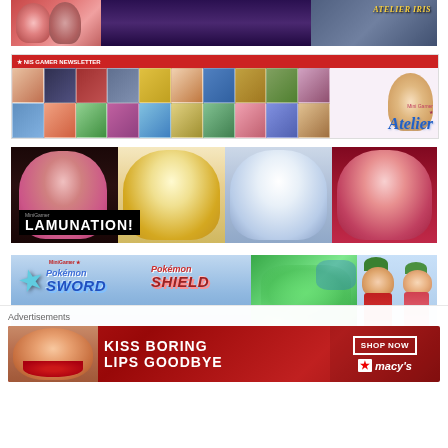[Figure (screenshot): Anime banner for Atelier Iris game showing characters against dark fantasy background]
[Figure (screenshot): Atelier series promotional banner with grid of anime character thumbnails and Atelier logo]
[Figure (screenshot): Lamunation! visual novel promotional banner with four anime girl characters]
[Figure (screenshot): Pokemon Sword and Shield promotional banner with game logos, map, and characters]
[Figure (screenshot): Partial game banner at bottom, partially obscured]
Advertisements
[Figure (photo): Macy's advertisement: woman's face with red lips, text KISS BORING LIPS GOODBYE, SHOP NOW button, Macy's star logo]